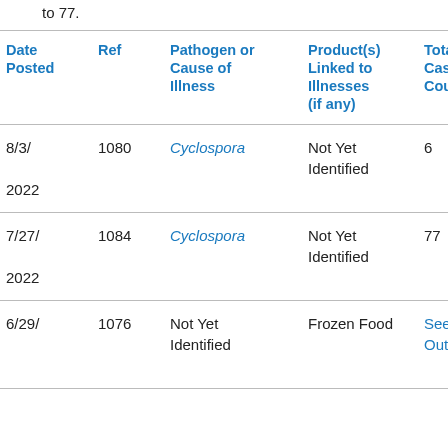to 77.
| Date Posted | Ref | Pathogen or Cause of Illness | Product(s) Linked to Illnesses (if any) | Total Case Count |
| --- | --- | --- | --- | --- |
| 8/3/
2022 | 1080 | Cyclospora | Not Yet Identified | 6 |
| 7/27/
2022 | 1084 | Cyclospora | Not Yet Identified | 77 |
| 6/29/
2022... | 1076 | Not Yet Identified | Frozen Food | See Outbre... |